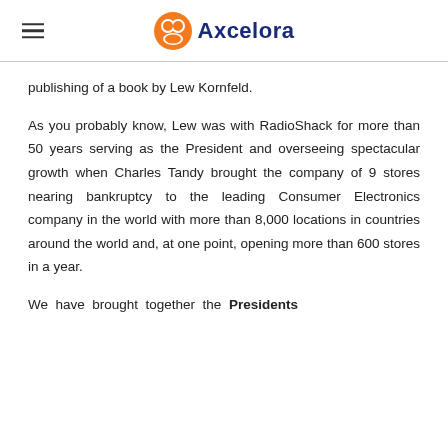Axcelora
publishing of a book by Lew Kornfeld.
As you probably know, Lew was with RadioShack for more than 50 years serving as the President and overseeing spectacular growth when Charles Tandy brought the company of 9 stores nearing bankruptcy to the leading Consumer Electronics company in the world with more than 8,000 locations in countries around the world and, at one point, opening more than 600 stores in a year.
We have brought together the Presidents